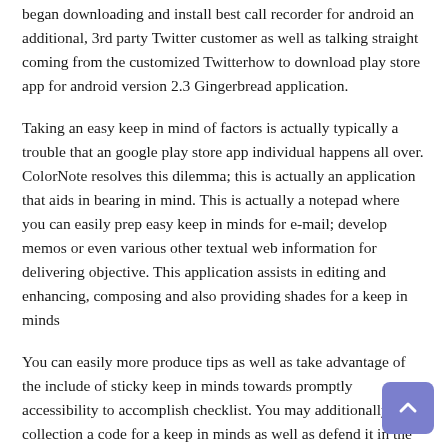began downloading and install best call recorder for android an additional, 3rd party Twitter customer as well as talking straight coming from the customized Twitterhow to download play store app for android version 2.3 Gingerbread application.
Taking an easy keep in mind of factors is actually typically a trouble that an google play store app individual happens all over. ColorNote resolves this dilemma; this is actually an application that aids in bearing in mind. This is actually a notepad where you can easily prep easy keep in minds for e-mail; develop memos or even various other textual web information for delivering objective. This application assists in editing and enhancing, composing and also providing shades for a keep in minds
You can easily more produce tips as well as take advantage of the include of sticky keep in minds towards promptly accessibility to accomplish checklist. You may additionally collection a code for a keep in minds as well as defend it in the event you wish to conserve necessary details. your phone companion Yet another appealing include of the application is actually you could also generate an on the web back-up of your keep in minds that are actually minimized